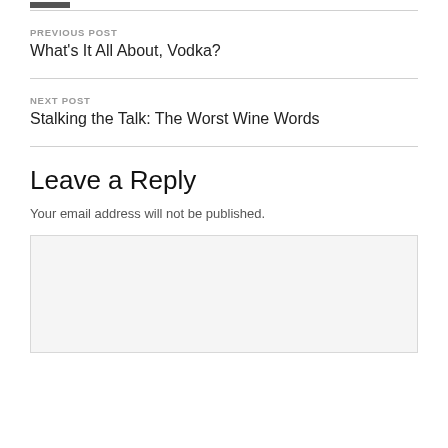PREVIOUS POST
What's It All About, Vodka?
NEXT POST
Stalking the Talk: The Worst Wine Words
Leave a Reply
Your email address will not be published.